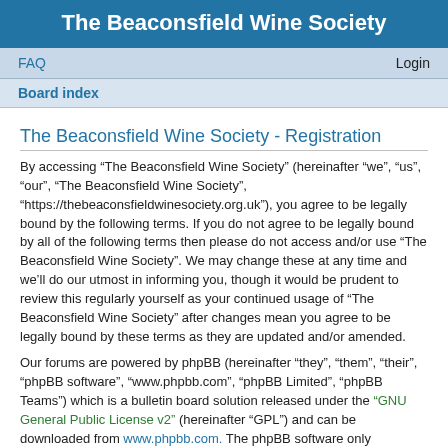The Beaconsfield Wine Society
FAQ    Login
Board index
The Beaconsfield Wine Society - Registration
By accessing “The Beaconsfield Wine Society” (hereinafter “we”, “us”, “our”, “The Beaconsfield Wine Society”, “https://thebeaconsfieldwinesociety.org.uk”), you agree to be legally bound by the following terms. If you do not agree to be legally bound by all of the following terms then please do not access and/or use “The Beaconsfield Wine Society”. We may change these at any time and we’ll do our utmost in informing you, though it would be prudent to review this regularly yourself as your continued usage of “The Beaconsfield Wine Society” after changes mean you agree to be legally bound by these terms as they are updated and/or amended.
Our forums are powered by phpBB (hereinafter “they”, “them”, “their”, “phpBB software”, “www.phpbb.com”, “phpBB Limited”, “phpBB Teams”) which is a bulletin board solution released under the “GNU General Public License v2” (hereinafter “GPL”) and can be downloaded from www.phpbb.com. The phpBB software only facilitates internet based discussions; phpBB Limited is not responsible for what we allow and/or disallow as permissible content and/or conduct. For further information about phpBB, please see: https://www.phpbb.com/.